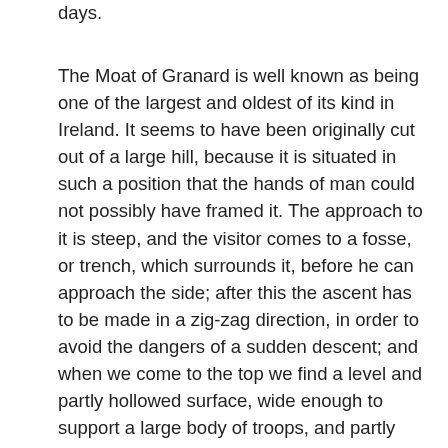days.
The Moat of Granard is well known as being one of the largest and oldest of its kind in Ireland. It seems to have been originally cut out of a large hill, because it is situated in such a position that the hands of man could not possibly have framed it. The approach to it is steep, and the visitor comes to a fosse, or trench, which surrounds it, before he can approach the side; after this the ascent has to be made in a zig-zag direction, in order to avoid the dangers of a sudden descent; and when we come to the top we find a level and partly hollowed surface, wide enough to support a large body of troops, and partly protected in several places by the remains of what formed the rampart of the original fortification. Mr. O'Donovan says that he was told that an old castle existed inside the moat, to which there was a secret entrance; and that the Tuites and Daltons built it as a protection against the attacks of The O'Farrell in the 13th century, but he thinks it was a storehouse for grain in the